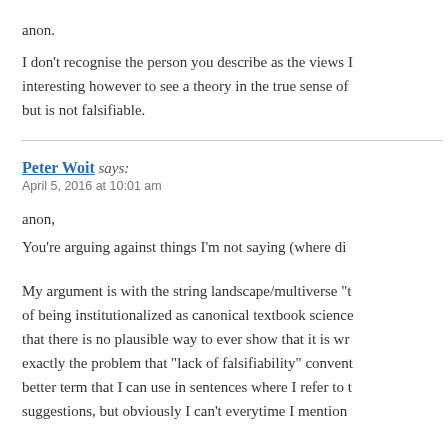anon.
I don't recognise the person you describe as the views I hold. It's interesting however to see a theory in the true sense of the word, one that explains but is not falsifiable.
Peter Woit says:
April 5, 2016 at 10:01 am
anon,
You're arguing against things I'm not saying (where di...
My argument is with the string landscape/multiverse "t... of being institutionalized as canonical textbook science... that there is no plausible way to ever show that it is wr... exactly the problem that "lack of falsifiability" convent... better term that I can use in sentences where I refer to t... suggestions, but obviously I can't everytime I mention...